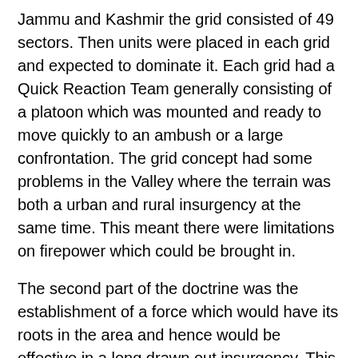Jammu and Kashmir the grid consisted of 49 sectors. Then units were placed in each grid and expected to dominate it. Each grid had a Quick Reaction Team generally consisting of a platoon which was mounted and ready to move quickly to an ambush or a large confrontation. The grid concept had some problems in the Valley where the terrain was both a urban and rural insurgency at the same time. This meant there were limitations on firepower which could be brought in.
The second part of the doctrine was the establishment of a force which would have its roots in the area and hence would be effective in a long drawn out insurgency. This led to the formation of the Rashtriya Rifles and established permanent forces in the Valley (Victor) and Doda (Delta). Further details on this force can be found in the accompanying article on the Rashtriya Rifles. The 8 Mountain Division was also moved in from Nagaland.
Lack of intelligence due to the wiping out of IB and State